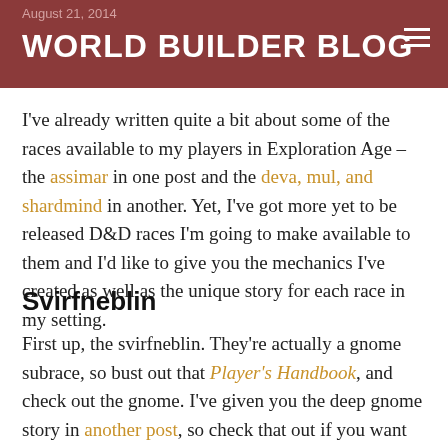August 21, 2014
WORLD BUILDER BLOG
I've already written quite a bit about some of the races available to my players in Exploration Age – the assimar in one post and the deva, mul, and shardmind in another. Yet, I've got more yet to be released D&D races I'm going to make available to them and I'd like to give you the mechanics I've created as well as the unique story for each race in my setting.
Svirfneblin
First up, the svirfneblin. They're actually a gnome subrace, so bust out that Player's Handbook, and check out the gnome. I've given you the deep gnome story in another post, so check that out if you want their story. Here are the mechanics.